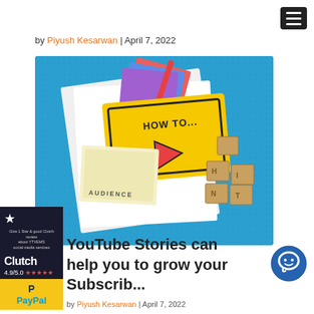Menu button (hamburger icon)
by Piyush Kesarwan | April 7, 2022
[Figure (photo): Photo showing a yellow 'HOW TO...' card with a red triangle arrow, notes with 'AUDIENCE' text, colorful papers, a red pencil, and wooden letter blocks, all on a blue textured background.]
[Figure (other): Clutch badge showing 4.9/5.0 rating with 5 red stars and PayPal payment logo below on yellow background]
YouTube Stories can help you to grow your Subscrib...
by Piyush Kesarwan | April 7, 2022